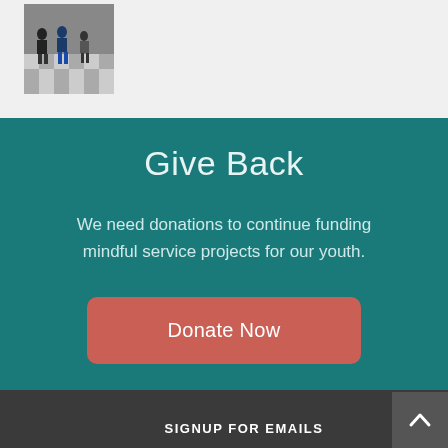[Figure (photo): Small thumbnail photo of people/youth in what appears to be a gymnasium or event space with a checkered floor.]
Give Back
We need donations to continue funding mindful service projects for our youth.
Donate Now
SIGNUP FOR EMAILS